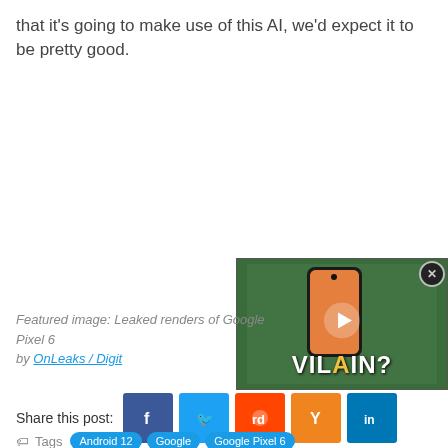that it's going to make use of this AI, we'd expect it to be pretty good.
[Figure (screenshot): Video overlay showing a phone with VILLAIN? text and a play button, with a close (X) button in top right]
Featured image: Leaked renders of Google Pixel 6 by OnLeaks / Digit
Share this post:
Facebook share button
Twitter share button
Reddit share button
Hacker News share button
LinkedIn share button
Tags: Android 12, Google, Google Pixel 6